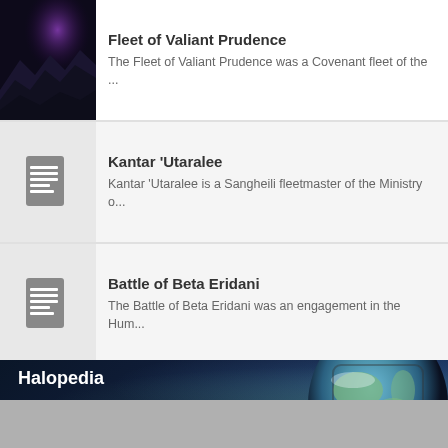Fleet of Valiant Prudence — The Fleet of Valiant Prudence was a Covenant fleet of the ...
Kantar 'Utaralee — Kantar 'Utaralee is a Sangheili fleetmaster of the Ministry o...
Battle of Beta Eridani — The Battle of Beta Eridani was an engagement in the Hum...
Halopedia
Content is available under Attribution-ShareAlike 3.0 Unported unless otherwise noted.
Privacy policy • Desktop → Toggle night theme